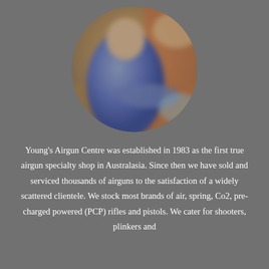[Figure (photo): Circular cropped photo of a person in a blue shirt working at a counter or workshop, blurred background with warm tones.]
Young's Airgun Centre was established in 1983 as the first true airgun specialty shop in Australasia. Since then we have sold and serviced thousands of airguns to the satisfaction of a widely scattered clientele. We stock most brands of air, spring, Co2, pre-charged powered (PCP) rifles and pistols. We cater for shooters, plinkers and